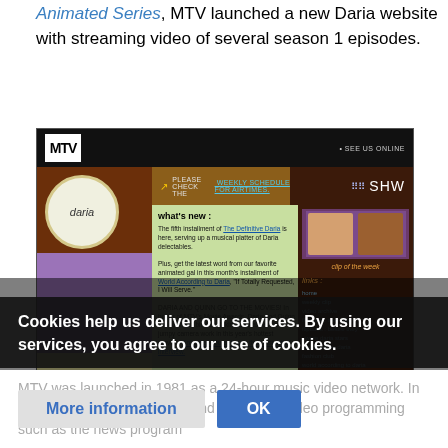Animated Series, MTV launched a new Daria website with streaming video of several season 1 episodes.
[Figure (screenshot): Screenshot of the MTV Daria website showing the Daria character, navigation links, 'what's new' section, and sidebar with links including home, weekly clip, video archive, flipbook: alter ages, flipbook: before they were daria stars, the definitive daria, fashion club, world according to daria, season 5: radio by daria, virtual lawndale, chat]
A much reduced view of the front page of the MTV Daria website, from
Cookies help us deliver our services. By using our services, you agree to our use of cookies.
MTV was launched in 1981 as a 24-hour music video network. In the developing and airing non-video programming such as the news program